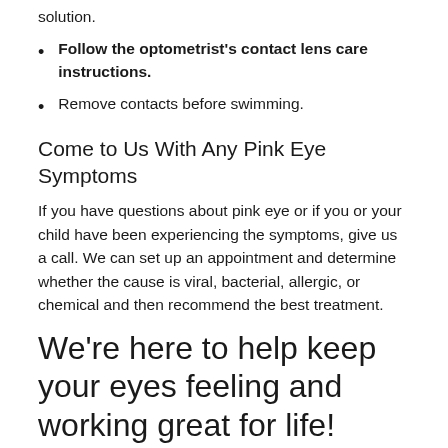solution.
Follow the optometrist's contact lens care instructions.
Remove contacts before swimming.
Come to Us With Any Pink Eye Symptoms
If you have questions about pink eye or if you or your child have been experiencing the symptoms, give us a call. We can set up an appointment and determine whether the cause is viral, bacterial, allergic, or chemical and then recommend the best treatment.
We’re here to help keep your eyes feeling and working great for life!
Top image used under CC0 Public Domain license. Image cropped and modified from original.